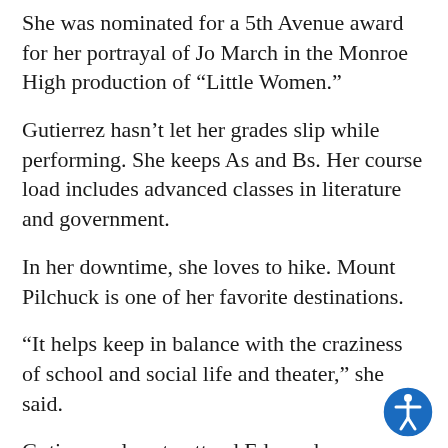She was nominated for a 5th Avenue award for her portrayal of Jo March in the Monroe High production of “Little Women.”
Gutierrez hasn’t let her grades slip while performing. She keeps As and Bs. Her course load includes advanced classes in literature and government.
In her downtime, she loves to hike. Mount Pilchuck is one of her favorite destinations.
“It helps keep in balance with the craziness of school and social life and theater,” she said.
Gutierrez plans to attend Edmonds Community College, but hasn’t settled on a career. She figures she’ll need a steady job to support her passion for performing arts.